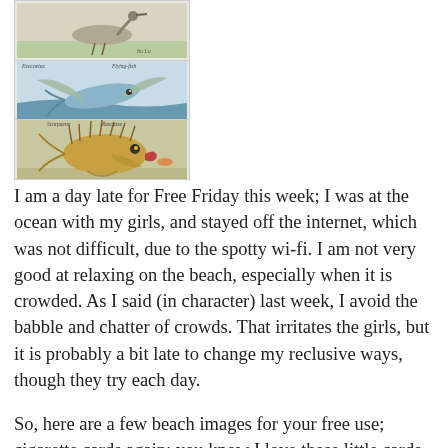[Figure (illustration): Stack of three vintage cigarette card fish illustrations: top card shows a bird/flying fish, middle card shows a flying fish (Exocoetus) with wings spread over water, bottom card shows a spiny scorpionfish or rockfish with open mouth, all rendered in vintage natural history illustration style.]
I am a day late for Free Friday this week; I was at the ocean with my girls, and stayed off the internet, which was not difficult, due to the spotty wi-fi. I am not very good at relaxing on the beach, especially when it is crowded. As I said (in character) last week, I avoid the babble and chatter of crowds. That irritates the girls, but it is probably a bit late to change my reclusive ways, though they try each day.
So, here are a few beach images for your free use; cigarette cards again; you know I love these little cards. These are images I used in a “Beach Bundle” project last year. Give the image a click or two to download the hi-res file, and then dive in. I will be back tonight or tomorrow with a new post; I was